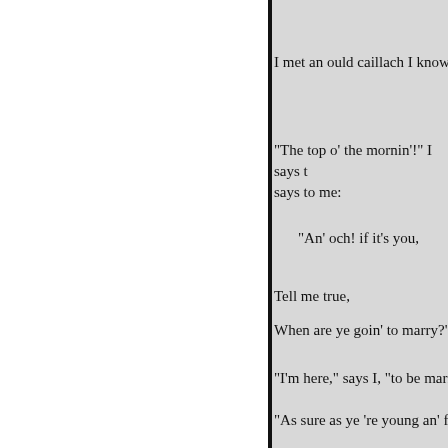I met an ould caillach I knowed h
"The top o' the mornin'!" I says t says to me:
"An' och! if it's you,
Tell me true,
When are ye goin' to marry?"
"I'm here," says I, "to be married
"As sure as ye 're young an' fair,
ugly an' ould.
If ye haven't a husband, who 'll c